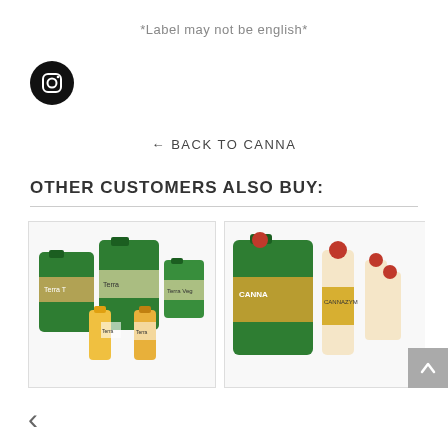*Label may not be english*
[Figure (logo): Instagram icon — black circle with white Instagram camera outline logo]
← BACK TO CANNA
OTHER CUSTOMERS ALSO BUY:
[Figure (photo): Product photo showing multiple green CANNA Terra plant nutrient bottles and containers of various sizes]
[Figure (photo): Product photo showing green CANNA large container with red cap alongside smaller CANNAZYM bottles]